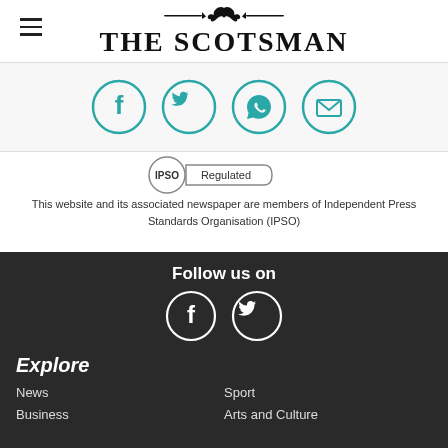THE SCOTSMAN
[Figure (infographic): Social share buttons: Facebook, Twitter, WhatsApp, Email (teal circle icons)]
[Figure (logo): IPSO Regulated badge]
This website and its associated newspaper are members of Independent Press Standards Organisation (IPSO)
Follow us on
[Figure (infographic): Social media icons: Facebook and Twitter (white circle icons on dark background)]
Explore
News
Sport
Business
Arts and Culture